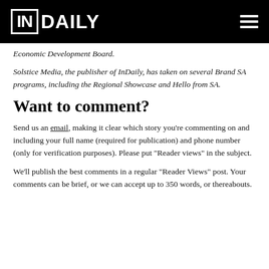IN DAILY
Economic Development Board.
Solstice Media, the publisher of InDaily, has taken on several Brand SA programs, including the Regional Showcase and Hello from SA.
Want to comment?
Send us an email, making it clear which story you're commenting on and including your full name (required for publication) and phone number (only for verification purposes). Please put “Reader views” in the subject.
We’ll publish the best comments in a regular “Reader Views” post. Your comments can be brief, or we can accept up to 350 words, or thereabouts.